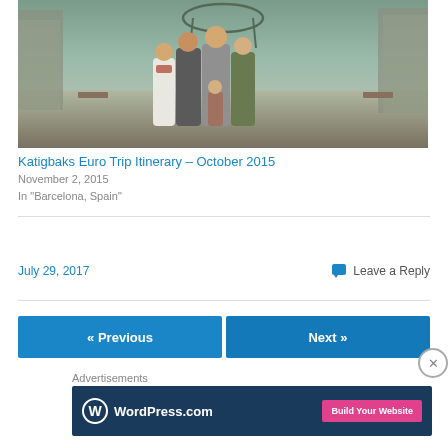[Figure (photo): Family of five posing on a wide pedestrian boulevard in Barcelona, Spain. An arched canopy structure is visible in the background with buildings and street furniture.]
Katigbaks Euro Trip Itinerary – October 2015
November 2, 2015
In "Barcelona, Spain"
July 29, 2017
Leave a Reply
« Previous
Next »
Advertisements
[Figure (logo): WordPress.com advertisement banner with logo on dark blue background and pink 'Build Your Website' button]